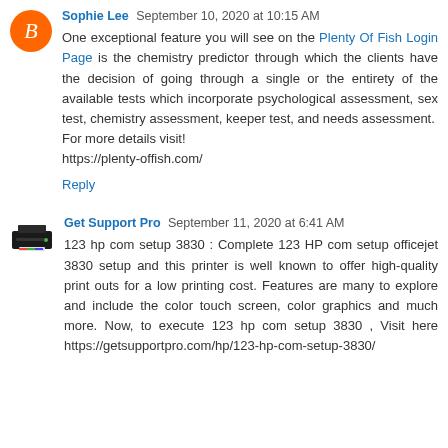Sophie Lee  September 10, 2020 at 10:15 AM
One exceptional feature you will see on the Plenty Of Fish Login Page is the chemistry predictor through which the clients have the decision of going through a single or the entirety of the available tests which incorporate psychological assessment, sex test, chemistry assessment, keeper test, and needs assessment.
For more details visit!
https://plenty-offish.com/
Reply
Get Support Pro  September 11, 2020 at 6:41 AM
123 hp com setup 3830 : Complete 123 HP com setup officejet 3830 setup and this printer is well known to offer high-quality print outs for a low printing cost. Features are many to explore and include the color touch screen, color graphics and much more. Now, to execute 123 hp com setup 3830 , Visit here https://getsupportpro.com/hp/123-hp-com-setup-3830/